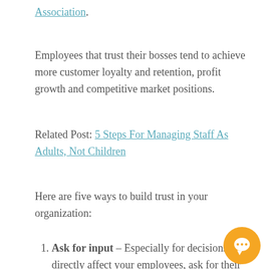Association.
Employees that trust their bosses tend to achieve more customer loyalty and retention, profit growth and competitive market positions.
Related Post: 5 Steps For Managing Staff As Adults, Not Children
Here are five ways to build trust in your organization:
Ask for input – Especially for decisions that directly affect your employees, ask for their opinions.
Fill in the background – Give staff members t…